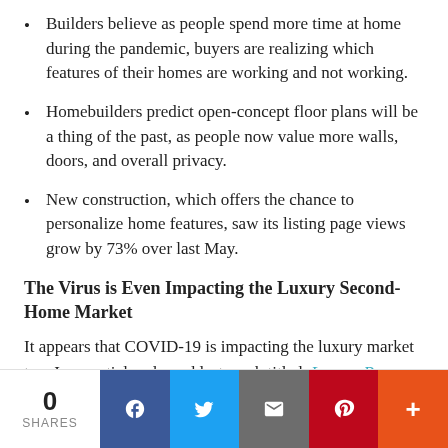Builders believe as people spend more time at home during the pandemic, buyers are realizing which features of their homes are working and not working.
Homebuilders predict open-concept floor plans will be a thing of the past, as people now value more walls, doors, and overall privacy.
New construction, which offers the chance to personalize home features, saw its listing page views grow by 73% over last May.
The Virus is Even Impacting the Luxury Second-Home Market
It appears that COVID-19 is impacting the luxury market too. In an article released last week titled, Luxury Buyers Return to Market in Force, Danielle Hale, Chief Economist for realtor.com reported: